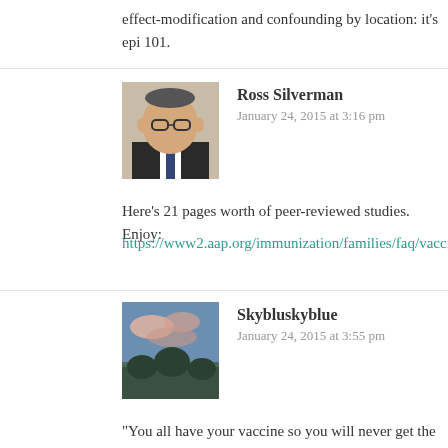effect-modification and confounding by location: it's epi 101.
Ross Silverman
January 24, 2015 at 3:16 pm
Here’s 21 pages worth of peer-reviewed studies. Enjoy:
https://www2.aap.org/immunization/families/faq/vaccinestudies.p
Skybluskyblue
January 24, 2015 at 3:55 pm
“You all have your vaccine so you will never get the disease”. Wr keep having to answer this wide-spread myth created by pseudo are not 100% effective. Most are 95% effective so out of a popul people will have vaccine failure for whatever reason. Then there or medically induced compromised immune systems that can ve get a severe case of it]. Then there are the babies too young to g people allergic to eggs that have a hard time finding non-egg-bas community-immunity is very important. The smaller the amount o